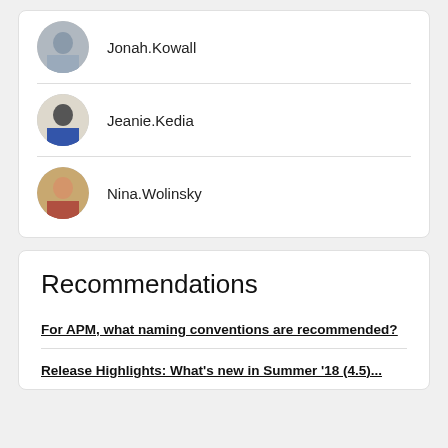Jonah.Kowall
Jeanie.Kedia
Nina.Wolinsky
Recommendations
For APM, what naming conventions are recommended?
Release Highlights: What's new in Summer '18 (4.5)...